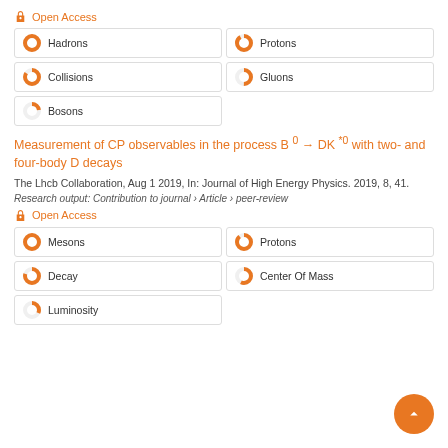Open Access
Hadrons
Protons
Collisions
Gluons
Bosons
Measurement of CP observables in the process B 0 → DK *0 with two- and four-body D decays
The Lhcb Collaboration, Aug 1 2019, In: Journal of High Energy Physics. 2019, 8, 41.
Research output: Contribution to journal › Article › peer-review
Open Access
Mesons
Protons
Decay
Center Of Mass
Luminosity